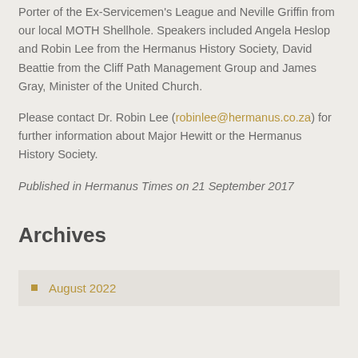Porter of the Ex-Servicemen's League and Neville Griffin from our local MOTH Shellhole. Speakers included Angela Heslop and Robin Lee from the Hermanus History Society, David Beattie from the Cliff Path Management Group and James Gray, Minister of the United Church.
Please contact Dr. Robin Lee (robinlee@hermanus.co.za) for further information about Major Hewitt or the Hermanus History Society.
Published in Hermanus Times on 21 September 2017
Archives
August 2022